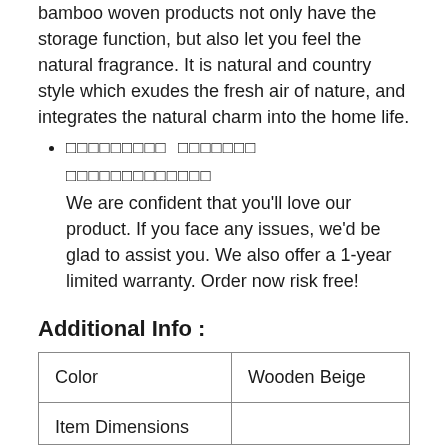bamboo woven products not only have the storage function, but also let you feel the natural fragrance. It is natural and country style which exudes the fresh air of nature, and integrates the natural charm into the home life.
🔲🔲🔲🔲🔲🔲🔲🔲🔲 🔲🔲🔲🔲🔲🔲🔲 🔲🔲🔲🔲🔲🔲🔲🔲🔲🔲🔲🔲🔲 We are confident that you'll love our product. If you face any issues, we'd be glad to assist you. We also offer a 1-year limited warranty. Order now risk free!
Additional Info :
| Color | Wooden Beige |
| --- | --- |
| Item Dimensions |  |